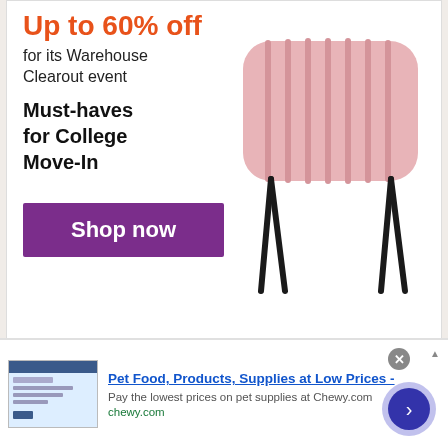[Figure (advertisement): Retail advertisement banner showing 'Up to 60% off for its Warehouse Clearout event' and 'Must-haves for College Move-In' with a pink ottoman/stool and a purple 'Shop now' button]
Some of the tax changes in the bill are more structurally sound than others, but, as a whole, these changes move Kentucky's tax code in the right direction. In particular, dialing down the individual income tax rate will promote economic competitiveness and growth, setting the stage for additional
[Figure (advertisement): Bottom ad strip for Chewy.com: 'Pet Food, Products, Supplies at Low Prices - Pay the lowest prices on pet supplies at Chewy.com' with a close button and next arrow button]